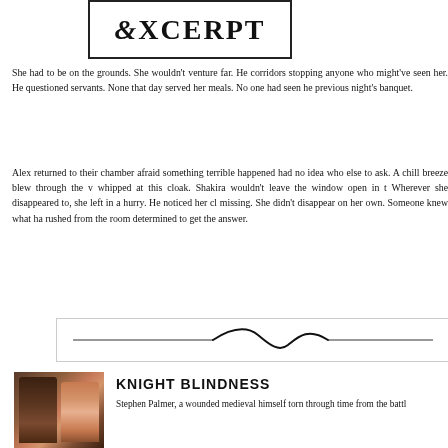[Figure (logo): Excerpt logo/banner with decorative border and text 'EXCERPT']
She had to be on the grounds. She wouldn't venture far. He corridors stopping anyone who might've seen her. He questioned servants. None that day served her meals. No one had seen he previous night's banquet.
Alex returned to their chamber afraid something terrible happened had no idea who else to ask. A chill breeze blew through the v whipped at this cloak. Shakira wouldn't leave the window open in t Wherever she disappeared to, she left in a hurry. He noticed her cl missing. She didn't disappear on her own. Someone knew what ha rushed from the room determined to get the answer.
[Figure (illustration): Decorative wavy divider line in a bordered box]
[Figure (photo): Book cover for Knight Blindness showing a dark-haired man and a red-haired woman]
KNIGHT BLINDNESS
Stephen Palmer, a wounded medieval himself torn through time from the battl